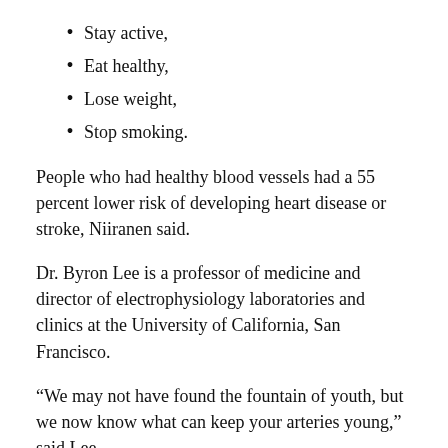Stay active,
Eat healthy,
Lose weight,
Stop smoking.
People who had healthy blood vessels had a 55 percent lower risk of developing heart disease or stroke, Niiranen said.
Dr. Byron Lee is a professor of medicine and director of electrophysiology laboratories and clinics at the University of California, San Francisco.
“We may not have found the fountain of youth, but we now know what can keep your arteries young,” said Lee.
Simple things like eating right, staying active, and managing your blood pressure and cholesterol seem to slow and sometimes even stop the stiffening of arteries